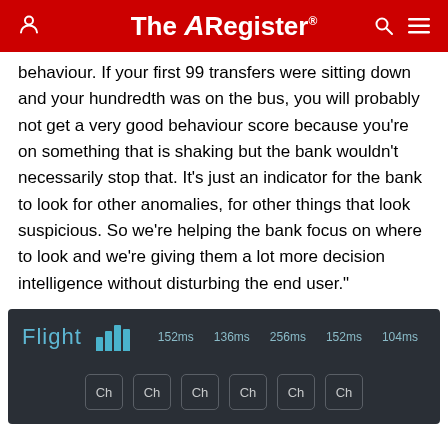The Register
behaviour. If your first 99 transfers were sitting down and your hundredth was on the bus, you will probably not get a very good behaviour score because you're on something that is shaking but the bank wouldn't necessarily stop that. It's just an indicator for the bank to look for other anomalies, for other things that look suspicious. So we're helping the bank focus on where to look and we're giving them a lot more decision intelligence without disturbing the end user."
[Figure (screenshot): Flight app interface showing bars and timing values 152ms, 136ms, 256ms, 152ms, 104ms with Ch buttons below]